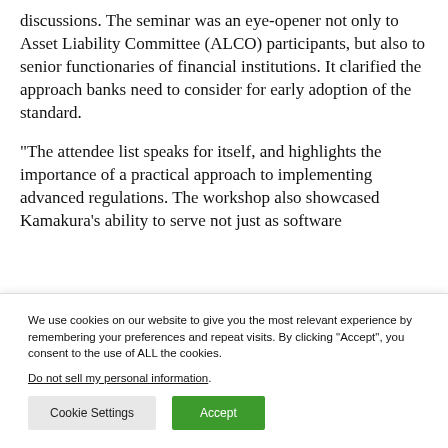discussions. The seminar was an eye-opener not only to Asset Liability Committee (ALCO) participants, but also to senior functionaries of financial institutions. It clarified the approach banks need to consider for early adoption of the standard.
“The attendee list speaks for itself, and highlights the importance of a practical approach to implementing advanced regulations. The workshop also showcased Kamakura’s ability to serve not just as software
We use cookies on our website to give you the most relevant experience by remembering your preferences and repeat visits. By clicking “Accept”, you consent to the use of ALL the cookies.
Do not sell my personal information.